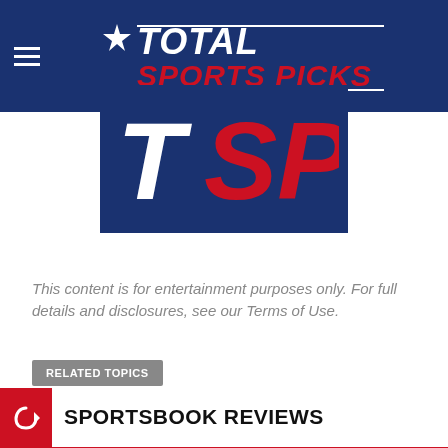[Figure (logo): Total Sports Picks logo — dark navy background with star and bold white/red text 'TOTAL SPORTS PICKS' and hamburger menu icon]
[Figure (logo): TSP monogram logo on navy background — large italic white T and red SP letters]
This content is for entertainment purposes only. For full details and disclosures, see our Terms of Use.
RELATED TOPICS
SPORTSBOOK REVIEWS